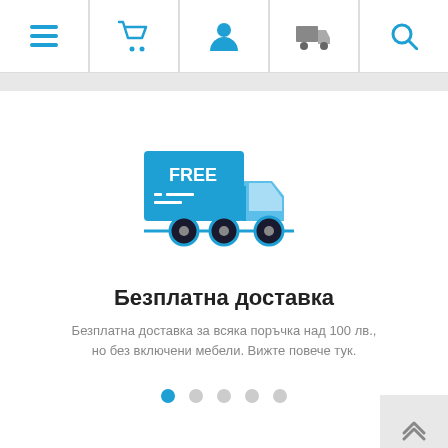Navigation bar with menu, cart, user, delivery, search icons
[Figure (illustration): Free delivery truck icon in blue with FREE label on cargo box]
Безплатна доставка
Безплатна доставка за всяка поръчка над 100 лв., но без включени мебели. Вижте повече тук.